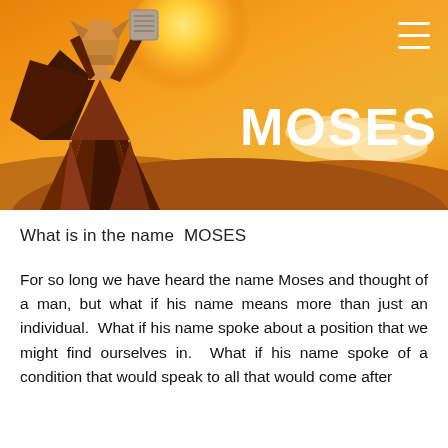[Figure (illustration): Hero banner with an orange/golden background showing a stylized low-poly illustration of Moses holding stone tablets aloft, with a sun glow, clouds, and hills in the background. White hamburger menu icon in top right corner.]
MOSES
What is in the name  MOSES
For so long we have heard the name Moses and thought of a man, but what if his name means more than just an individual.  What if his name spoke about a position that we might find ourselves in.  What if his name spoke of a condition that would speak to all that would come after